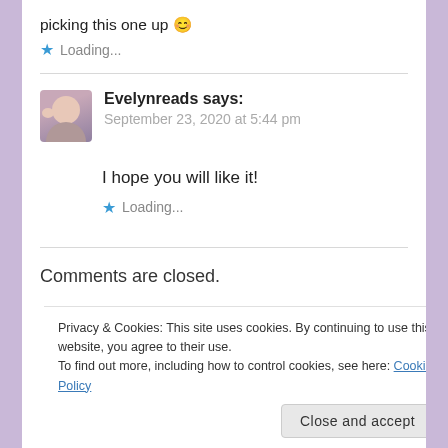picking this one up 😊
★ Loading...
Evelynreads says:
September 23, 2020 at 5:44 pm
I hope you will like it!
★ Loading...
Comments are closed.
Privacy & Cookies: This site uses cookies. By continuing to use this website, you agree to their use.
To find out more, including how to control cookies, see here: Cookie Policy
Close and accept